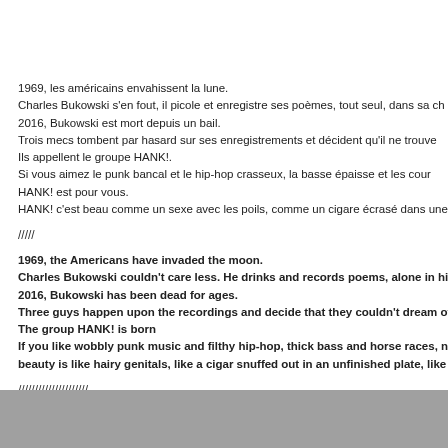1969, les américains envahissent la lune.
Charles Bukowski s'en fout, il picole et enregistre ses poèmes, tout seul, dans sa ch
2016, Bukowski est mort depuis un bail.
Trois mecs tombent par hasard sur ses enregistrements et décident qu'il ne trouve
Ils appellent le groupe HANK!.
Si vous aimez le punk bancal et le hip-hop crasseux, la basse épaisse et les cour
HANK! est pour vous.
HANK! c'est beau comme un sexe avec les poils, comme un cigare écrasé dans une
/////
1969, the Americans have invaded the moon.
Charles Bukowski couldn't care less. He drinks and records poems, alone in his roo
2016, Bukowski has been dead for ages.
Three guys happen upon the recordings and decide that they couldn't dream of a b
The group HANK! is born
If you like wobbly punk music and filthy hip-hop, thick bass and horse races, nasa
beauty is like hairy genitals, like a cigar snuffed out in an unfinished plate, like smo
/////////////////////
[Figure (photo): Gray rectangle at the bottom of the page]